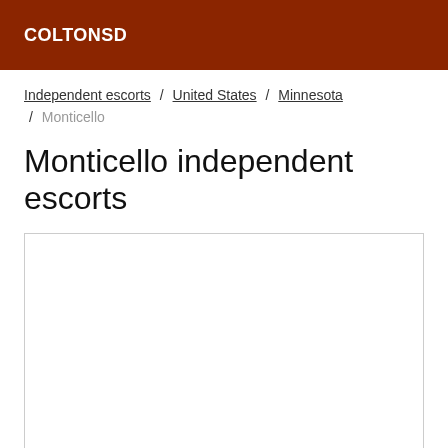COLTONSD
Independent escorts / United States / Minnesota / Monticello
Monticello independent escorts
[Figure (other): Empty white content box with border]